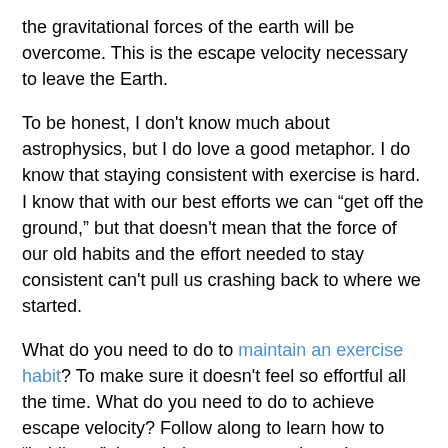the gravitational forces of the earth will be overcome. This is the escape velocity necessary to leave the Earth.
To be honest, I don't know much about astrophysics, but I do love a good metaphor. I do know that staying consistent with exercise is hard. I know that with our best efforts we can “get off the ground,” but that doesn't mean that the force of our old habits and the effort needed to stay consistent can't pull us crashing back to where we started.
What do you need to do to maintain an exercise habit? To make sure it doesn't feel so effortful all the time. What do you need to do to achieve escape velocity? Follow along to learn how to “boldly go” through the processes that other successful maintainers have gone through.
The Steps to Maintain an Exercise Habit